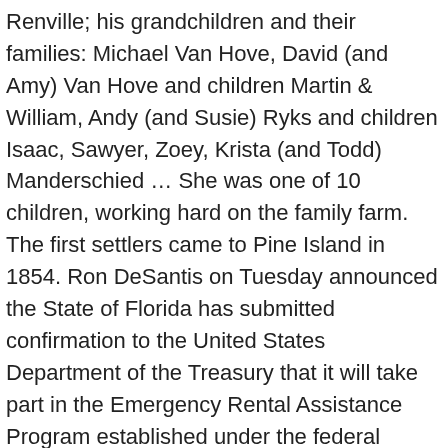Renville; his grandchildren and their families: Michael Van Hove, David (and Amy) Van Hove and children Martin & William, Andy (and Susie) Ryks and children Isaac, Sawyer, Zoey, Krista (and Todd) Manderschied … She was one of 10 children, working hard on the family farm. The first settlers came to Pine Island in 1854. Ron DeSantis on Tuesday announced the State of Florida has submitted confirmation to the United States Department of the Treasury that it will take part in the Emergency Rental Assistance Program established under the federal COVID-19 relief legislation signed into law in December.
John Monroe Hafterson, 82, of Pine Island, went to be with his Lord on Monday, November 16, 2020, at his home surrounded by his family. Featured Funeral Homes: Silvernale Silha Funeral Home Wibaux, Montana Archway Memorial Chapel 111 Taylor Rd Hazelwood, Missouri Saint Lukes Cemetery 1679 N Front Street Woodburn, Oregon Alhambra Florist 550 E